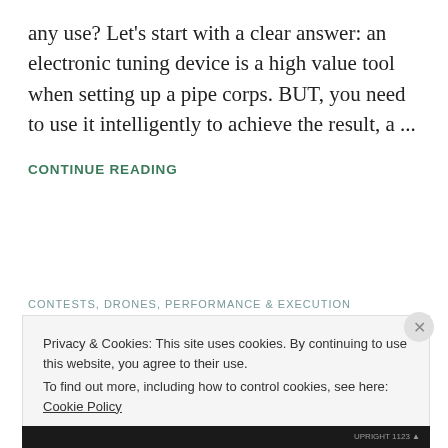any use? Let's start with a clear answer: an electronic tuning device is a high value tool when setting up a pipe corps.  BUT, you need to use it intelligently to achieve the result, a ...
CONTINUE READING
CONTESTS, DRONES, PERFORMANCE & EXECUTION
Privacy & Cookies: This site uses cookies. By continuing to use this website, you agree to their use.
To find out more, including how to control cookies, see here: Cookie Policy
Close and accept